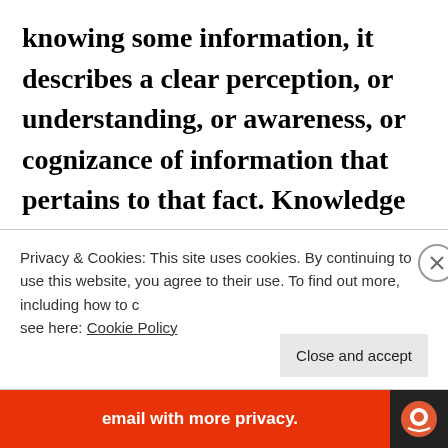knowing some information, it describes a clear perception, or understanding, or awareness, or cognizance of information that pertains to that fact. Knowledge can only exist, can only be found in an object which has the abilities of perception, understanding, awareness, or cognition. In other words, knowledge is an attribute of
Privacy & Cookies: This site uses cookies. By continuing to use this website, you agree to their use. To find out more, including how to control cookies, see here: Cookie Policy
Close and accept
email with more privacy.